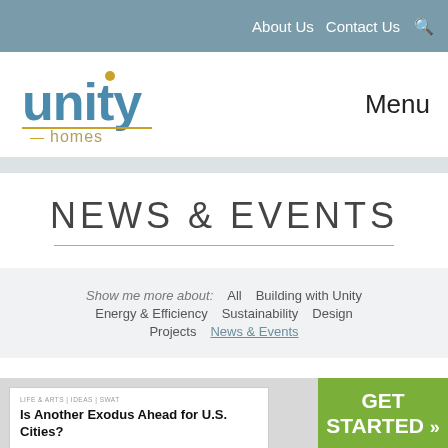About Us   Contact Us   🔍
[Figure (logo): Unity Homes logo — 'unity' in blue, dot over 'i' in gold, '—homes' in gold/gray below]
Menu
NEWS & EVENTS
Show me more about:   All   Building with Unity   Energy & Efficiency   Sustainability   Design   Projects   News & Events
[Figure (screenshot): Article card: tag 'LIFE & ARTS | IDEAS | SWAT', title 'Is Another Exodus Ahead for U.S. Cities?', snippet 'Lumber shortages and prices are soaring amid tariffs, mill closures and a whole lot of DIY projects']
GET STARTED »